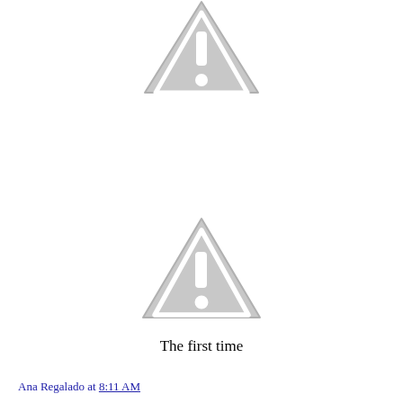[Figure (illustration): Gray warning triangle icon with exclamation mark, partially cut off at top of page]
[Figure (illustration): Gray warning triangle icon with exclamation mark, centered in middle of page]
The first time
Ana Regalado at 8:11 AM